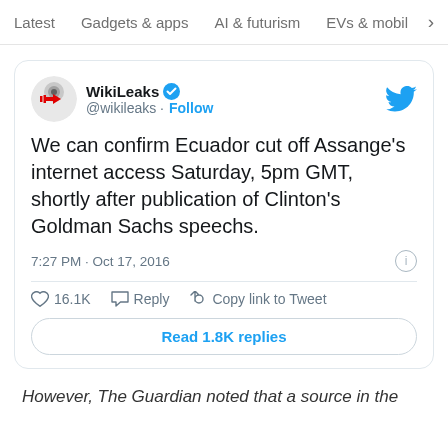Latest   Gadgets & apps   AI & futurism   EVs & mobil  >
[Figure (screenshot): WikiLeaks tweet card showing account name, handle, follow button, Twitter bird logo, tweet text about Ecuador cutting off Assange's internet access, timestamp 7:27 PM Oct 17 2016, like count 16.1K, reply and copy link actions, and Read 1.8K replies button]
However, The Guardian noted that a source in the